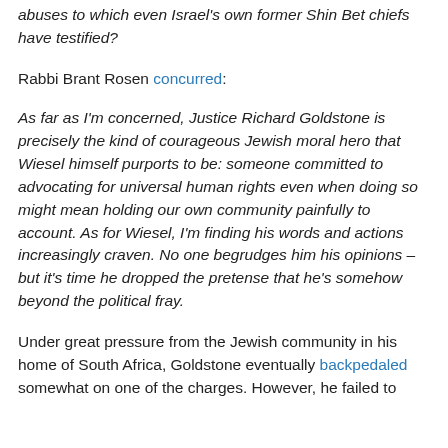abuses to which even Israel's own former Shin Bet chiefs have testified?
Rabbi Brant Rosen concurred:
As far as I'm concerned, Justice Richard Goldstone is precisely the kind of courageous Jewish moral hero that Wiesel himself purports to be: someone committed to advocating for universal human rights even when doing so might mean holding our own community painfully to account. As for Wiesel, I'm finding his words and actions increasingly craven. No one begrudges him his opinions – but it's time he dropped the pretense that he's somehow beyond the political fray.
Under great pressure from the Jewish community in his home of South Africa, Goldstone eventually backpedaled somewhat on one of the charges. However, he failed to